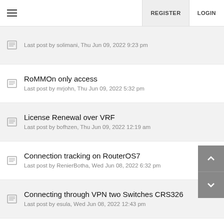REGISTER  LOGIN
Last post by solimani, Thu Jun 09, 2022 9:23 pm
RoMMOn only access
Last post by mrjohn, Thu Jun 09, 2022 5:32 pm
License Renewal over VRF
Last post by bofhzen, Thu Jun 09, 2022 12:19 am
Connection tracking on RouterOS7
Last post by RenierBotha, Wed Jun 08, 2022 6:32 pm
Connecting through VPN two Switches CRS326
Last post by esula, Wed Jun 08, 2022 12:43 pm
LHGG link down, ethernet cable fault?
Last post by john231, Wed Jun 08, 2022 12:34 pm
Routing settings on RouterOS 7.2.3 for OpenVPN Server at